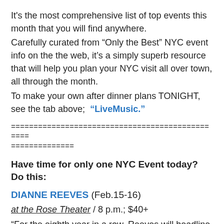It's the most comprehensive list of top events this month that you will find anywhere.
Carefully curated from “Only the Best” NYC event info on the the web, it’s a simply superb resource that will help you plan your NYC visit all over town, all through the month.
To make your own after dinner plans TONIGHT, see the tab above;  “LiveMusic.”
================================================================
==============
Have time for only one NYC Event today? Do this:
DIANNE REEVES (Feb.15-16)
at the Rose Theater / 8 p.m.; $40+
“For the eighth year in a row, Reeves will headline Jazz at